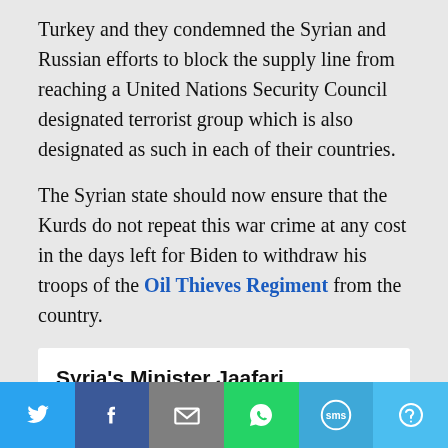Turkey and they condemned the Syrian and Russian efforts to block the supply line from reaching a United Nations Security Council designated terrorist group which is also designated as such in each of their countries.
The Syrian state should now ensure that the Kurds do not repeat this war crime at any cost in the days left for Biden to withdraw his troops of the Oil Thieves Regiment from the country.
Syria's Minister Jaafari Addresses Arria Meeting on Children and
[Figure (infographic): Social media share bar with Twitter, Facebook, Email, WhatsApp, SMS, and More buttons]